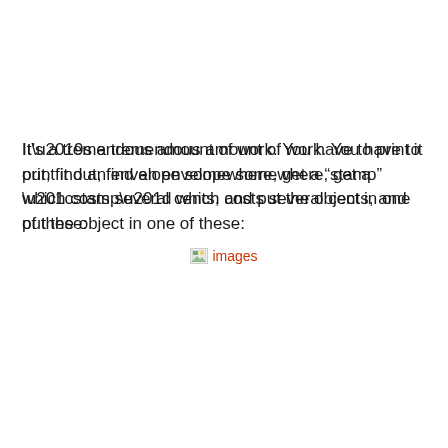It’s a tremendous amount of work. You have to print it out, find an envelope somewhere, get a “stamp” which costs several cents, and put the object in one of these:
[Figure (other): Broken image placeholder showing a small landscape icon followed by the text 'images' in red/orange, representing a missing embedded image.]